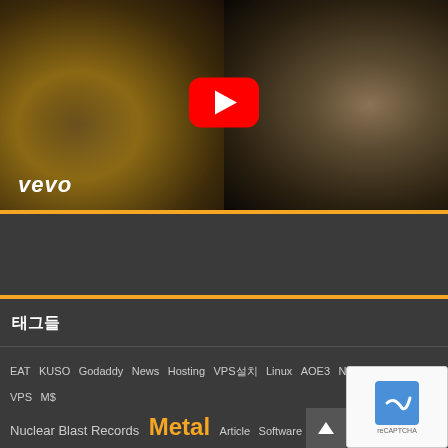[Figure (screenshot): YouTube/Vevo video thumbnail showing two women in a dark scene with a red YouTube play button overlay and vevo logo in bottom left]
[Figure (other): Tag cloud section with orange header bar and various sized tags including Metal, Nuclear Blast Records, YouTube, AFM Records, Music and smaller tags like EAT, KUSO, Godaddy, News, Hosting, VPS, Linux, AOE3, Nero, Favorites, VPS, M$, Article, Software, CentOS, Pictures, WordPress, Hardware, Lineage2, NGiNX, MoViE, LiFE, TALK, iPhone, PHP, Free, Security, Constellation]